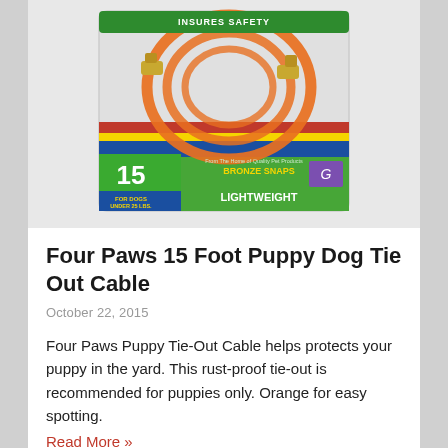[Figure (photo): Product photo of Four Paws 15 Foot Puppy Dog Tie Out Cable in orange color, coiled and shown in retail packaging with green and blue label reading 'INSURES SAFETY', '15 FEET', 'BRONZE SNAPS', 'LIGHTWEIGHT', 'FOR DOGS UNDER 25 LBS']
Four Paws 15 Foot Puppy Dog Tie Out Cable
October 22, 2015
Four Paws Puppy Tie-Out Cable helps protects your puppy in the yard. This rust-proof tie-out is recommended for puppies only. Orange for easy spotting.
Read More »
by: in Training Items
349   Comments Off   0